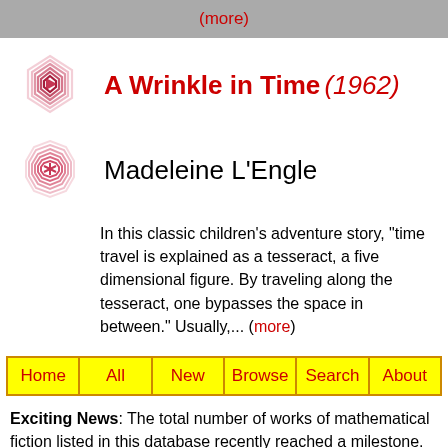(more)
A Wrinkle in Time (1962)
Madeleine L'Engle
In this classic children's adventure story, "time travel is explained as a tesseract, a five dimensional figure. By traveling along the tesseract, one bypasses the space in between." Usually,... (more)
Home
All
New
Browse
Search
About
Exciting News: The total number of works of mathematical fiction listed in this database recently reached a milestone. The 1,500th entry is The Man of Forty Crowns by Voltaire. Thanks to Vijay Fafat for writing the summary of that work (and so many